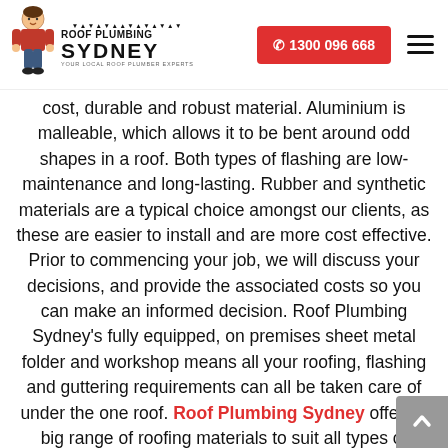Roof Plumbing Sydney — Your Local Roof Plumber Experts | ☎ 1300 096 668
cost, durable and robust material. Aluminium is malleable, which allows it to be bent around odd shapes in a roof. Both types of flashing are low-maintenance and long-lasting. Rubber and synthetic materials are a typical choice amongst our clients, as these are easier to install and are more cost effective. Prior to commencing your job, we will discuss your decisions, and provide the associated costs so you can make an informed decision. Roof Plumbing Sydney's fully equipped, on premises sheet metal folder and workshop means all your roofing, flashing and guttering requirements can all be taken care of under the one roof. Roof Plumbing Sydney offers a big range of roofing materials to suit all types of building projects including metal, polycarbonate and